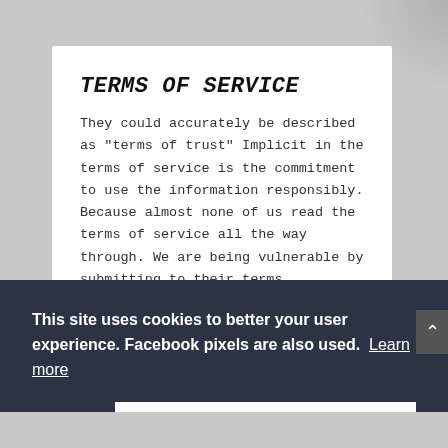TERMS OF SERVICE
They could accurately be described as “terms of trust” Implicit in the terms of service is the commitment to use the information responsibly. Because almost none of us read the terms of service all the way through. We are being vulnerable by submitting to their terms
This site uses cookies to better your user experience. Facebook pixels are also used.  Learn more
Decline
Allow cookies